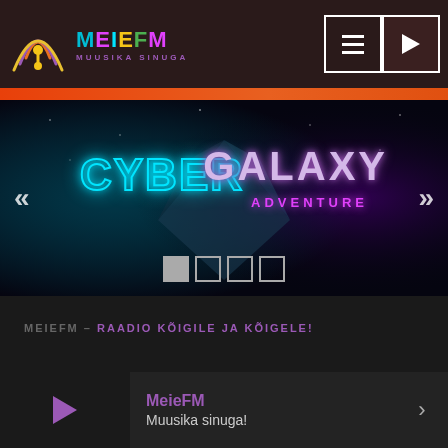[Figure (logo): MeieFM radio logo with circular broadcast icon in yellow/orange and text MEIEFM with tagline MUUSIKA SINUGA]
[Figure (screenshot): Slideshow banner showing CYBER text in neon cyan and GALAXY ADVENTURE in purple with dark space background, navigation arrows on sides, and 4 pagination dots at bottom]
MEIEFM - RAADIO KÕIGILE JA KÕIGELE!
[Figure (screenshot): Radio player bar at bottom with purple play button, MeieFM label in purple, subtitle Muusika sinuga! in white, and right arrow]